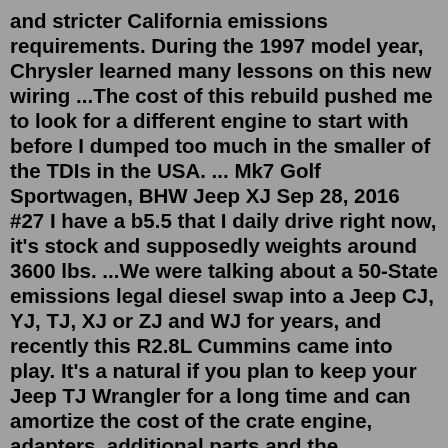and stricter California emissions requirements. During the 1997 model year, Chrysler learned many lessons on this new wiring ...The cost of this rebuild pushed me to look for a different engine to start with before I dumped too much in the smaller of the TDIs in the USA. ... Mk7 Golf Sportwagen, BHW Jeep XJ Sep 28, 2016 #27 I have a b5.5 that I daily drive right now, it's stock and supposedly weights around 3600 lbs. ...We were talking about a 50-State emissions legal diesel swap into a Jeep CJ, YJ, TJ, XJ or ZJ and WJ for years, and recently this R2.8L Cummins came into play. It's a natural if you plan to keep your Jeep TJ Wrangler for a long time and can amortize the cost of the crate engine, adapters, additional parts and the installation labor.Aug 20, 2020 · Joined Jul 14, 2014. 1,449 Posts. #8 · Aug 21, 2020. For $5500 plus the $2000 you can get for your non running jeep you can buy a 4.0L TJ in good condition. Base model JL 2 doors with 0 miles can be had for 30k. Everyone should experience a new Jeep experience at least once in their lives. S. The Jeep JK LS Swap Dec 2007